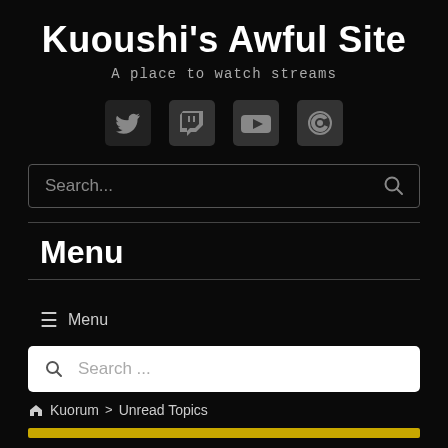Kuoushi's Awful Site
A place to watch streams
[Figure (illustration): Four social media icons: Twitter bird, Twitch speech bubble, YouTube play button, Steam logo — rendered in gray on dark background]
Search...
Menu
≡ Menu
Search ...
Kuorum > Unread Topics